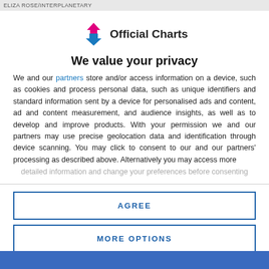ELIZA ROSE/INTERPLANETARY
[Figure (logo): Official Charts logo with pink house/arrow up icon and blue arrow down icon, followed by 'Official Charts' text in bold]
We value your privacy
We and our partners store and/or access information on a device, such as cookies and process personal data, such as unique identifiers and standard information sent by a device for personalised ads and content, ad and content measurement, and audience insights, as well as to develop and improve products. With your permission we and our partners may use precise geolocation data and identification through device scanning. You may click to consent to our and our partners' processing as described above. Alternatively you may access more detailed information and change your preferences before consenting
AGREE
MORE OPTIONS